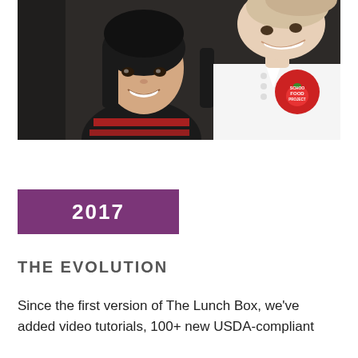[Figure (photo): Photo of a young Asian girl smiling alongside an adult wearing a white chef's coat with a 'School Food Project' logo badge]
2017
THE EVOLUTION
Since the first version of The Lunch Box, we've added video tutorials, 100+ new USDA-compliant